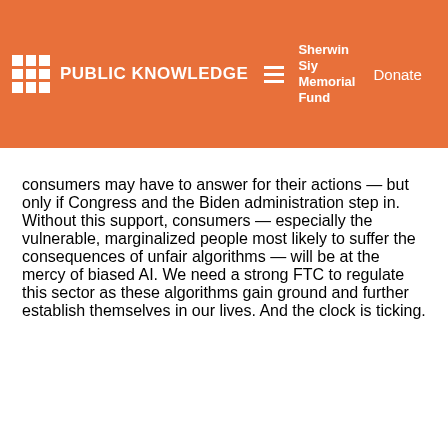PUBLIC KNOWLEDGE | Sherwin Siy Memorial Fund | Donate
consumers may have to answer for their actions — but only if Congress and the Biden administration step in. Without this support, consumers — especially the vulnerable, marginalized people most likely to suffer the consequences of unfair algorithms — will be at the mercy of biased AI. We need a strong FTC to regulate this sector as these algorithms gain ground and further establish themselves in our lives. And the clock is ticking.